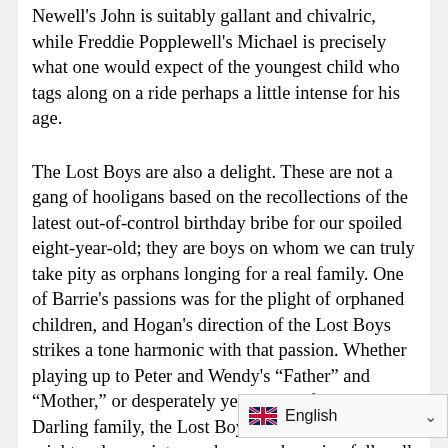Newell's John is suitably gallant and chivalric, while Freddie Popplewell's Michael is precisely what one would expect of the youngest child who tags along on a ride perhaps a little intense for his age.
The Lost Boys are also a delight. These are not a gang of hooligans based on the recollections of the latest out-of-control birthday bribe for our spoiled eight-year-old; they are boys on whom we can truly take pity as orphans longing for a real family. One of Barrie's passions was for the plight of orphaned children, and Hogan's direction of the Lost Boys strikes a tone harmonic with that passion. Whether playing up to Peter and Wendy's “Father” and “Mother,” or desperately yearning to fit in with the Darling family, the Lost Boys are children we might welcome into our homes—knowing full well that boys will still be boys, but not fearful that these particular boys will be criminally defined by their capacity fo